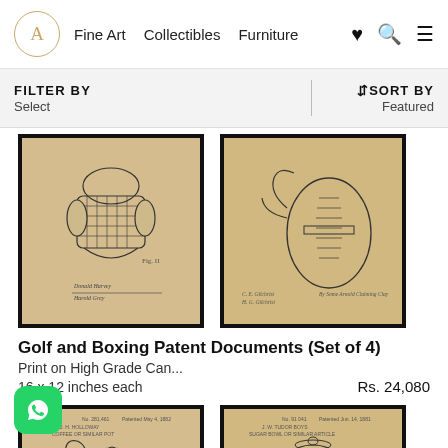Fine Art  Collectibles  Furniture
FILTER BY
Select
↕SORT BY
Featured
[Figure (photo): Two vintage patent document prints on aged parchment-colored canvas with black frames: left shows a golf equipment design, right shows a boxing glove/bag design]
Golf and Boxing Patent Documents (Set of 4)
Print on High Grade Can...
16 x 12 inches each
Rs. 24,080
[Figure (photo): Two more vintage patent document prints with black frames: left shows a teapot design, right shows a trophy/cup design, both on aged parchment background]